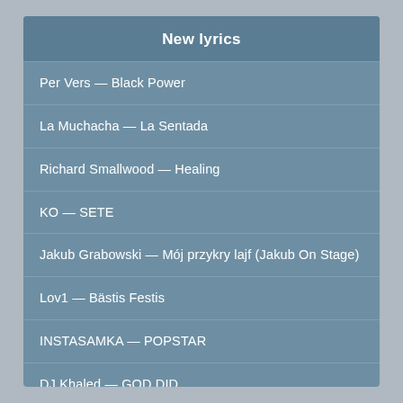New lyrics
Per Vers — Black Power
La Muchacha — La Sentada
Richard Smallwood — Healing
KO — SETE
Jakub Grabowski — Mój przykry lajf (Jakub On Stage)
Lov1 — Bästis Festis
INSTASAMKA — POPSTAR
DJ Khaled — GOD DID